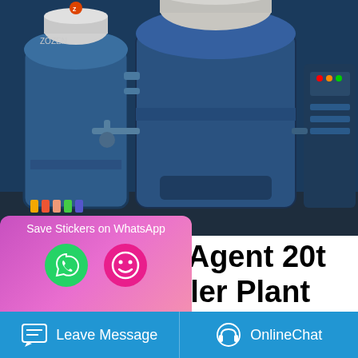[Figure (photo): Industrial biomass/coal boiler plant equipment — large blue cylindrical boilers with piping and control panels in an industrial facility]
Commercial Agent 20t Biomass Boiler Plant Ukraine
Commercial 20t Coal Fired Boiler Plant Agent Belarus. 20t Boiler Agent Ukraine - carltonhotel.in 20t Coal Fired CFB Steam Boiler in Nigeria. Kefid · Kefid15. Nigeria has abundant natural resources,possess coal resource about 2.75 billion tons,is the only country produce coal in West Africa.So with the development of
[Figure (screenshot): WhatsApp 'Save Stickers on WhatsApp' popup with phone icon and emoji icon, pink/magenta gradient background]
[Figure (infographic): Website sidebar with Chat (speech bubble icon), Email (envelope icon), and Contact (chat bubble icon) navigation items]
Leave Message  OnlineChat